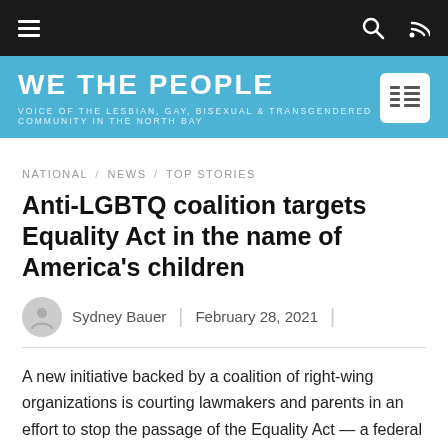WE THE PEOPLE — VOICE OF THE LESBIAN, GAY, BISEXUAL & TRANSGENDERED COMMUNITY IN THE NORTH BAY
NATIONAL / NEWS / TOP STORIES
Anti-LGBTQ coalition targets Equality Act in the name of America's children
Sydney Bauer  |  February 28, 2021
A new initiative backed by a coalition of right-wing organizations is courting lawmakers and parents in an effort to stop the passage of the Equality Act — a federal LGBTQ rights bill — and promote policies targeting transgender Americans at the federal and state levels.